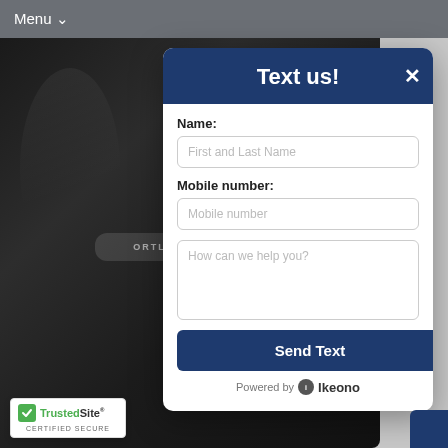Menu ▼
[Figure (photo): Black Ortlieb messenger bag product photo on grey background]
Text us!
Name:
First and Last Name
Mobile number:
Mobile number
How can we help you?
Send Text
Powered by Ikeono
[Figure (logo): TrustedSite Certified Secure badge]